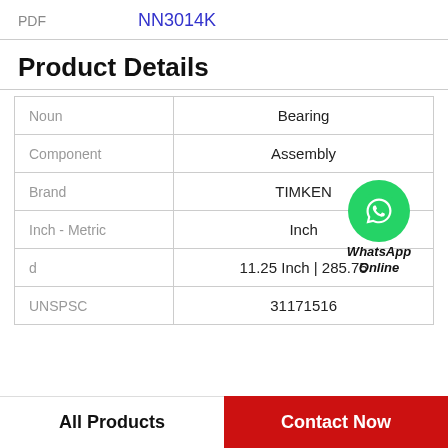PDF   NN3014K
Product Details
|  |  |
| --- | --- |
| Noun | Bearing |
| Component | Assembly |
| Brand | TIMKEN |
| Inch - Metric | Inch |
| d | 11.25 Inch | 285.75 |
| UNSPSC | 31171516 |
[Figure (illustration): WhatsApp Online logo with green circle phone icon and text 'WhatsApp Online']
All Products   Contact Now